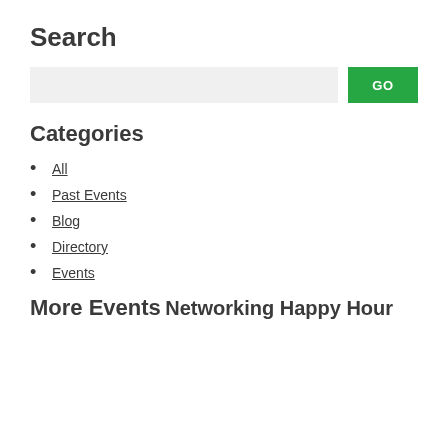Search
Categories
All
Past Events
Blog
Directory
Events
More Events
Networking Happy Hour